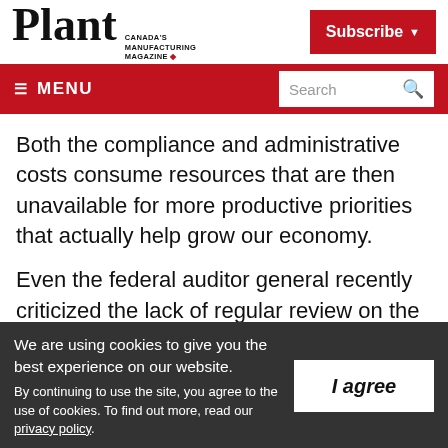Plant — Canada's Manufacturing Magazine
Both the compliance and administrative costs consume resources that are then unavailable for more productive priorities that actually help grow our economy.
Even the federal auditor general recently criticized the lack of regular review on the
We are using cookies to give you the best experience on our website. By continuing to use the site, you agree to the use of cookies. To find out more, read our privacy policy.